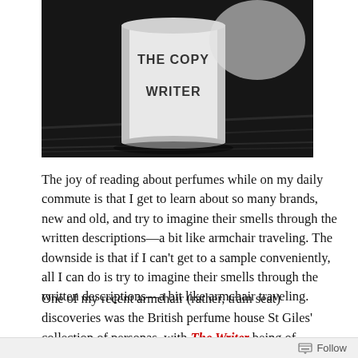[Figure (photo): Black and white photo of a mug or jar with 'THE COPY WRITER' written on it in hand-lettered text, sitting on a dark wooden surface. A white cloth or paper is partially visible in the background.]
The joy of reading about perfumes while on my daily commute is that I get to learn about so many brands, new and old, and try to imagine their smells through the written descriptions—a bit like armchair traveling. The downside is that if I can't get to a sample conveniently, all I can do is try to imagine their smells through the written descriptions—a bit like armchair traveling.
One of my recent armchair (rather, train seat) discoveries was the British perfume house St Giles' collection of personas, with The Writer being of particular interest to me. Perhaps, in this case, I might
Follow